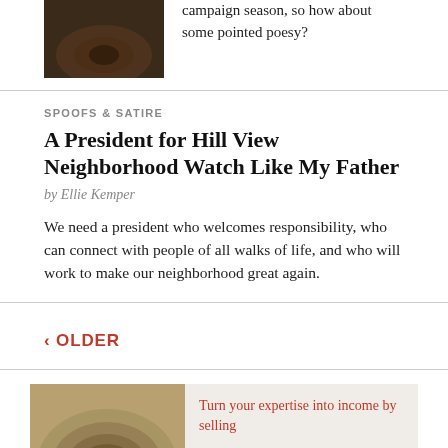[Figure (photo): Thumbnail image in top-left, dark/brown tones, partially visible]
campaign season, so how about some pointed poesy?
SPOOFS & SATIRE
A President for Hill View Neighborhood Watch Like My Father
by Ellie Kemper
We need a president who welcomes responsibility, who can connect with people of all walks of life, and who will work to make our neighborhood great again.
‹ OLDER
[Figure (photo): Partial image at bottom showing circular/spiral wood grain or stone pattern]
Turn your expertise into income by selling